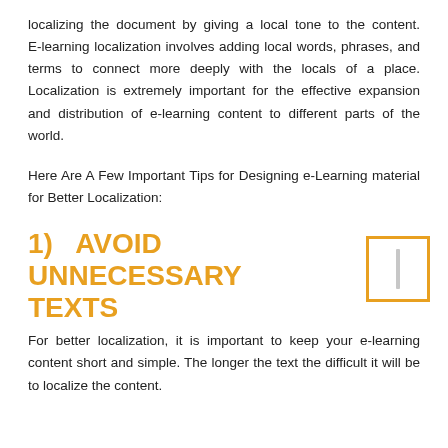localizing the document by giving a local tone to the content. E-learning localization involves adding local words, phrases, and terms to connect more deeply with the locals of a place. Localization is extremely important for the effective expansion and distribution of e-learning content to different parts of the world.
Here Are A Few Important Tips for Designing e-Learning material for Better Localization:
1) AVOID UNNECESSARY TEXTS
For better localization, it is important to keep your e-learning content short and simple. The longer the text the difficult it will be to localize the content.